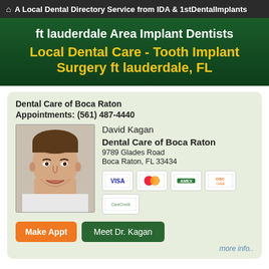A Local Dental Directory Service from IDA & 1stDentalImplants
ft lauderdale Area Implant Dentists
Local Dental Care – Tooth Implant Surgery ft lauderdale, FL
Dental Care of Boca Raton
Appointments: (561) 487-4440
[Figure (photo): Photo of Dr. David Kagan, a male dentist smiling]
David Kagan
Dental Care of Boca Raton
9789 Glades Road
Boca Raton, FL 33434
[Figure (infographic): Payment method icons: VISA, MasterCard, American Express, Discover, CareCredit]
Make Appt
Meet Dr. Kagan
more info..